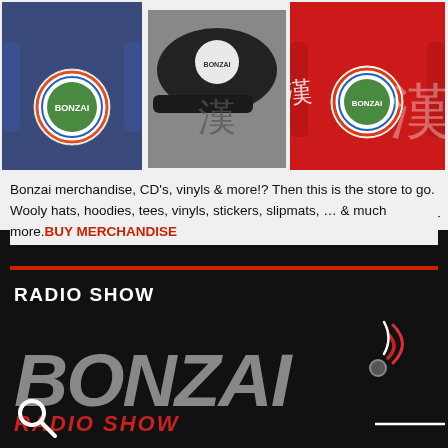[Figure (photo): Three Bonzai branded merchandise items: a navy blue hoodie with Bonzai circular logo on the back, a black cap with Bonzai logo and Japanese calligraphy, and a red jacket with Bonzai circular logo and Japanese characters on the back. Text 'Looking for' appears at the bottom right of the image area.]
Looking for Bonzai merchandise, CD's, vinyls & more!? Then this is the store to go. Wooly hats, hoodies, tees, vinyls, stickers, slipmats, … & much more.BUY MERCHANDISE
RADIO SHOW
[Figure (logo): Bonzai Radio Show logo: large stylized italic BONZAI text in grey with a radio signal icon (concentric arcs in red/white/grey) to the right, and red stylized text below partially visible.]
[Figure (other): Search icon (magnifying glass) in white/grey at bottom left]